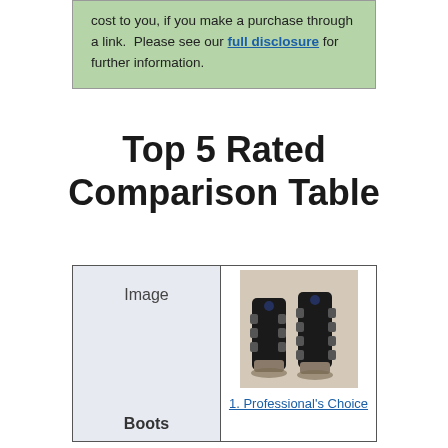cost to you, if you make a purchase through a link.  Please see our full disclosure for further information.
Top 5 Rated Comparison Table
| Image | 1. Professional's Choice |
| --- | --- |
| Boots |  |